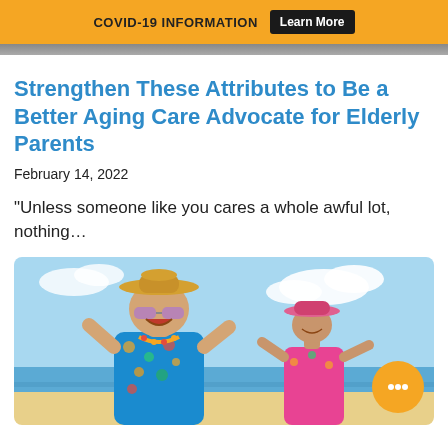COVID-19 INFORMATION  Learn More
Strengthen These Attributes to Be a Better Aging Care Advocate for Elderly Parents
February 14, 2022
“Unless someone like you cares a whole awful lot, nothing…
[Figure (photo): Happy elderly couple on a beach, man wearing straw hat, sunglasses and colorful Hawaiian shirt with leis, woman in background with pink hat and colorful outfit, blue sky with clouds]